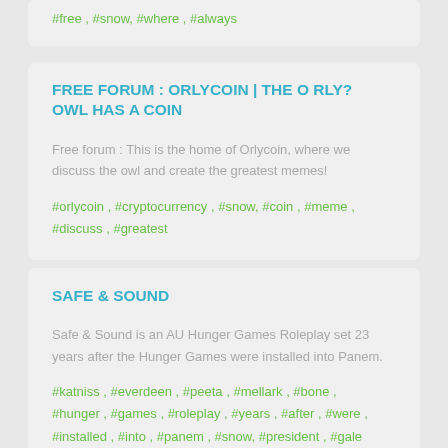#free , #snow, #where , #always
FREE FORUM : ORLYCOIN | THE O RLY? OWL HAS A COIN
Free forum : This is the home of Orlycoin, where we discuss the owl and create the greatest memes!
#orlycoin , #cryptocurrency , #snow, #coin , #meme , #discuss , #greatest
SAFE & SOUND
Safe & Sound is an AU Hunger Games Roleplay set 23 years after the Hunger Games were installed into Panem.
#katniss , #everdeen , #peeta , #mellark , #bone , #hunger , #games , #roleplay , #years , #after , #were , #installed , #into , #panem , #snow, #president , #gale